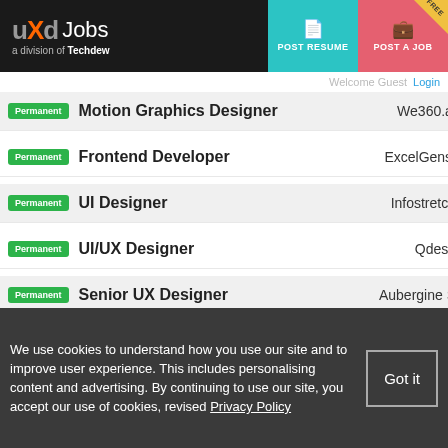UXd Jobs — a division of Techdew | POST RESUME | POST A JOB | FREE
Welcome Guest | Login
Permanent — Motion Graphics Designer — We360.ai
Permanent — Frontend Developer — ExcelGens
Permanent — UI Designer — Infostretch
Permanent — UI/UX Designer — Qdesq
Permanent — Senior UX Designer — Aubergine S
We use cookies to understand how you use our site and to improve user experience. This includes personalising content and advertising. By continuing to use our site, you accept our use of cookies, revised Privacy Policy